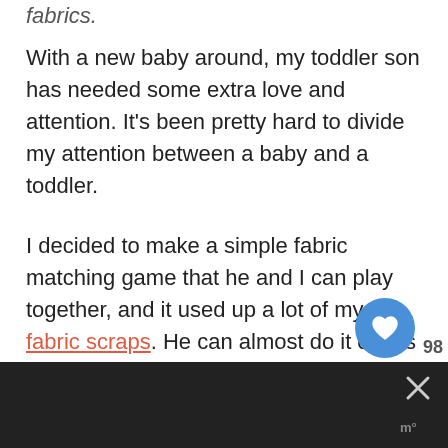fabrics.
With a new baby around, my toddler son has needed some extra love and attention. It's been pretty hard to divide my attention between a baby and a toddler.
I decided to make a simple fabric matching game that he and I can play together, and it used up a lot of my fabric scraps. He can almost do it on his own if he's just sorting or matching without turning it into a game. It was quick to sew, and it would make a really great handmade sewn gift!
[Figure (screenshot): Dark bottom strip showing part of an image, with an X close button and a watermark logo in the corner.]